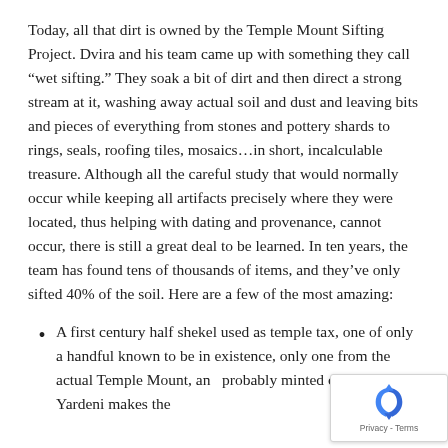Today, all that dirt is owned by the Temple Mount Sifting Project. Dvira and his team came up with something they call “wet sifting.” They soak a bit of dirt and then direct a strong stream at it, washing away actual soil and dust and leaving bits and pieces of everything from stones and pottery shards to rings, seals, roofing tiles, mosaics…in short, incalculable treasure. Although all the careful study that would normally occur while keeping all artifacts precisely where they were located, thus helping with dating and provenance, cannot occur, there is still a great deal to be learned. In ten years, the team has found tens of thousands of items, and they’ve only sifted 40% of the soil. Here are a few of the most amazing:
A first century half shekel used as temple tax, one of only a handful known to be in existence, only one from the actual Temple Mount, and probably minted on site. Yardeni makes the